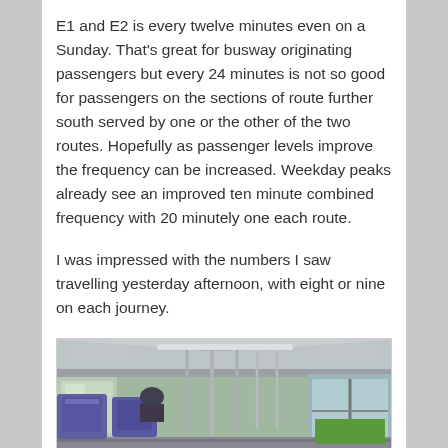E1 and E2 is every twelve minutes even on a Sunday. That's great for busway originating passengers but every 24 minutes is not so good for passengers on the sections of route further south served by one or the other of the two routes. Hopefully as passenger levels improve the frequency can be increased. Weekday peaks already see an improved ten minute combined frequency with 20 minutely one each route.
I was impressed with the numbers I saw travelling yesterday afternoon, with eight or nine on each journey.
[Figure (photo): Interior of a bus or guided busway vehicle, showing seats, handrails, windows and doors. View looking down the aisle from inside the vehicle.]